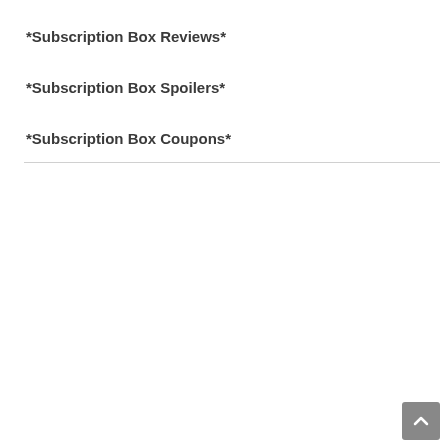*Subscription Box Reviews*
*Subscription Box Spoilers*
*Subscription Box Coupons*